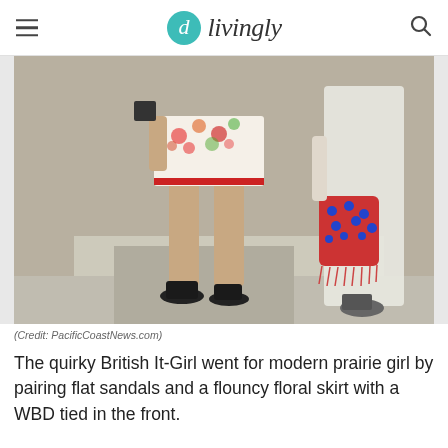livingly
[Figure (photo): Street photo showing legs of two women walking. Left figure wears a flouncy floral skirt with red trim, black flat sandals. Right figure wears a white dress and carries a colorful fringed bucket bag, wearing wedge shoes.]
(Credit: PacificCoastNews.com)
The quirky British It-Girl went for modern prairie girl by pairing flat sandals and a flouncy floral skirt with a WBD tied in the front.